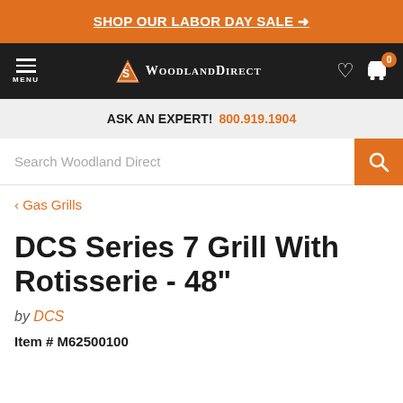SHOP OUR LABOR DAY SALE →
[Figure (logo): Woodland Direct navigation bar with menu icon, logo, heart/cart icons]
ASK AN EXPERT! 800.919.1904
Search Woodland Direct
< Gas Grills
DCS Series 7 Grill With Rotisserie - 48"
by DCS
Item # M62500100